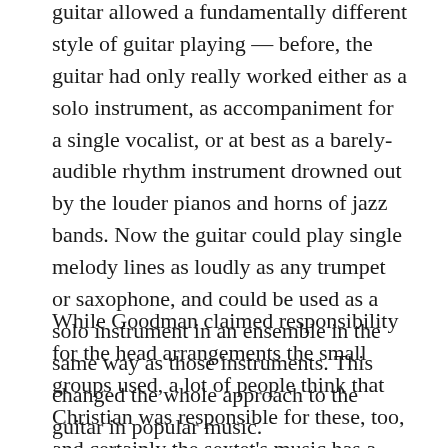guitar allowed a fundamentally different style of guitar playing — before, the guitar had only really worked either as a solo instrument, as accompaniment for a single vocalist, or at best as a barely-audible rhythm instrument drowned out by the louder pianos and horns of jazz bands. Now the guitar could play single melody lines as loudly as any trumpet or saxophone, and could be used as a solo instrument in an ensemble in the same way as those instruments. This changed the whole approach to the guitar in popular music.
While Goodman claimed responsibility for the head arrangements the small groups used, a lot of people think that Christian was responsible for these, too, and certainly the sextet's music has a much more exhilirating feel than the early quartet or trio work.